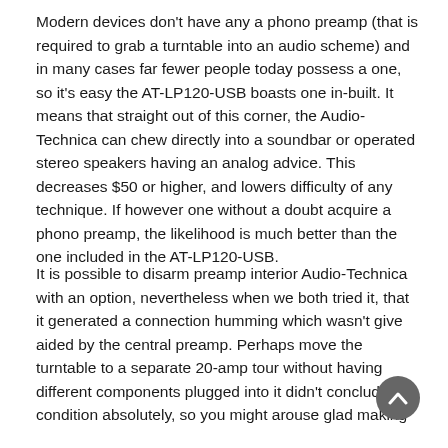Modern devices don't have any a phono preamp (that is required to grab a turntable into an audio scheme) and in many cases far fewer people today possess a one, so it's easy the AT-LP120-USB boasts one in-built. It means that straight out of this corner, the Audio-Technica can chew directly into a soundbar or operated stereo speakers having an analog advice. This decreases $50 or higher, and lowers difficulty of any technique. If however one without a doubt acquire a phono preamp, the likelihood is much better than the one included in the AT-LP120-USB.
It is possible to disarm preamp interior Audio-Technica with an option, nevertheless when we both tried it, that it generated a connection humming which wasn't give aided by the central preamp. Perhaps move the turntable to a separate 20-amp tour without having different components plugged into it didn't conclude the condition absolutely, so you might arouse glad making use of the in-built preamp when the cord is included.